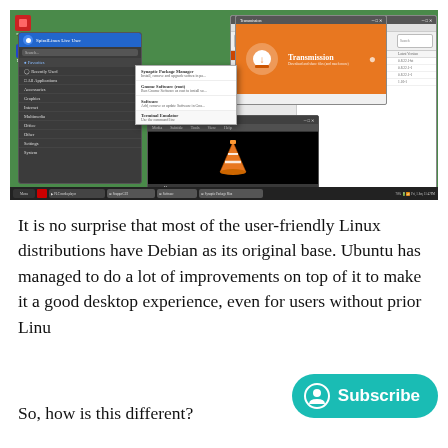[Figure (screenshot): Screenshot of a Linux desktop (SpiralLinux/Debian-based) showing multiple application windows: an application menu with Synaptic Package Manager listed, the Synaptic Package Manager window showing package lists, a Transmission download manager window with orange header, and a VLC media player window showing the VLC cone logo on a black screen. A taskbar is visible at the bottom.]
It is no surprise that most of the user-friendly Linux distributions have Debian as its original base. Ubuntu has managed to do a lot of improvements on top of it to make it a good desktop experience, even for users without prior Linu
So, how is this different?